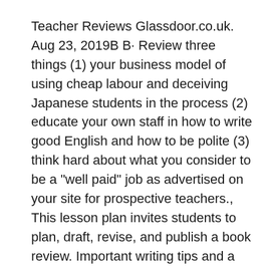Teacher Reviews Glassdoor.co.uk. Aug 23, 2019B B· Review three things (1) your business model of using cheap labour and deceiving Japanese students in the process (2) educate your own staff in how to write good English and how to be polite (3) think hard about what you consider to be a "well paid" job as advertised on your site for prospective teachers., This lesson plan invites students to plan, draft, revise, and publish a book review. Important writing tips and a professional writing model are particularly useful. A library of student reviews provides a way for students to publish their finished work..